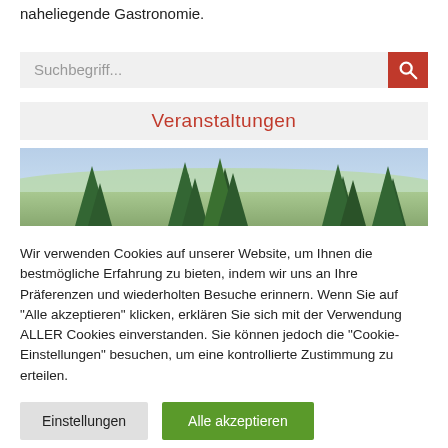naheliegende Gastronomie.
[Figure (screenshot): Search bar with placeholder 'Suchbegriff...' and red search button]
Veranstaltungen
[Figure (photo): Landscape photo showing conifer trees and a wide valley/plain view from a hilltop]
Wir verwenden Cookies auf unserer Website, um Ihnen die bestmögliche Erfahrung zu bieten, indem wir uns an Ihre Präferenzen und wiederholten Besuche erinnern. Wenn Sie auf "Alle akzeptieren" klicken, erklären Sie sich mit der Verwendung ALLER Cookies einverstanden. Sie können jedoch die "Cookie-Einstellungen" besuchen, um eine kontrollierte Zustimmung zu erteilen.
Einstellungen
Alle akzeptieren